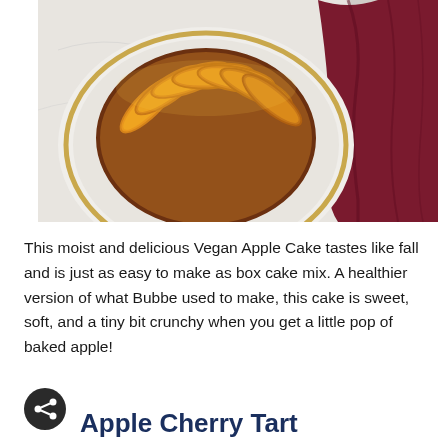[Figure (photo): Overhead photo of a Vegan Apple Cake with caramelized apple slices arranged on a white ceramic plate with a gold rim, set on a marble surface with a burgundy/dark red cloth napkin to the right.]
This moist and delicious Vegan Apple Cake tastes like fall and is just as easy to make as box cake mix. A healthier version of what Bubbe used to make, this cake is sweet, soft, and a tiny bit crunchy when you get a little pop of baked apple!
Apple Cherry Tart